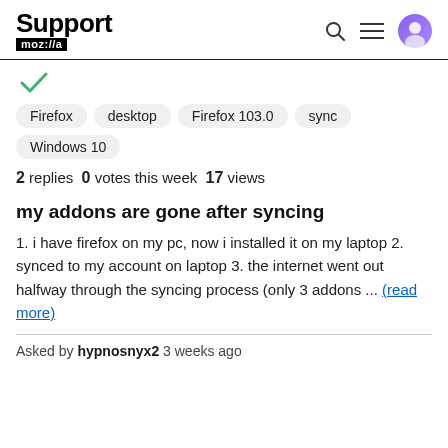Support mozilla// [search icon] [menu icon] [user icon]
[Figure (other): Green checkmark icon indicating resolved/answered]
Firefox
desktop
Firefox 103.0
sync
Windows 10
2 replies  0 votes this week  17 views
my addons are gone after syncing
1. i have firefox on my pc, now i installed it on my laptop 2. synced to my account on laptop 3. the internet went out halfway through the syncing process (only 3 addons ... (read more)
Asked by hypnosnyx2 3 weeks ago